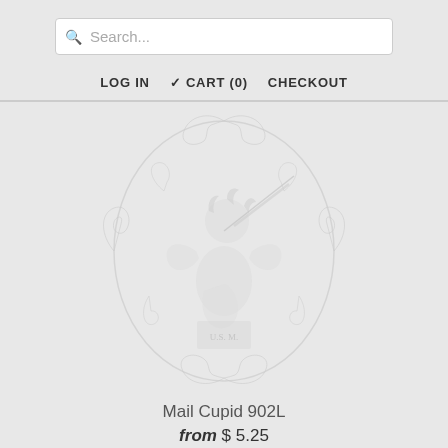Search...
LOG IN   CART (0)   CHECKOUT
[Figure (illustration): A faded/watermark-style vintage engraving of a cherub (cupid) holding a rifle or stick, seated on a box labeled 'U.S. M.' surrounded by ornate baroque scrollwork border, rendered in very light gray on a light gray background.]
Mail Cupid 902L
from $ 5.25